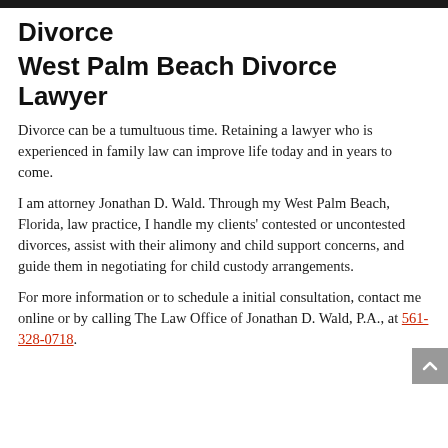Divorce
West Palm Beach Divorce Lawyer
Divorce can be a tumultuous time. Retaining a lawyer who is experienced in family law can improve life today and in years to come.
I am attorney Jonathan D. Wald. Through my West Palm Beach, Florida, law practice, I handle my clients' contested or uncontested divorces, assist with their alimony and child support concerns, and guide them in negotiating for child custody arrangements.
For more information or to schedule a initial consultation, contact me online or by calling The Law Office of Jonathan D. Wald, P.A., at 561-328-0718.